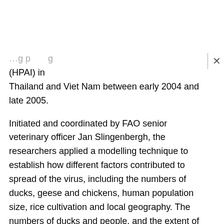…grouping… (HPAI) in Thailand and Viet Nam between early 2004 and late 2005.
Initiated and coordinated by FAO senior veterinary officer Jan Slingenbergh, the researchers applied a modelling technique to establish how different factors contributed to spread of the virus, including the numbers of ducks, geese and chickens, human population size, rice cultivation and local geography. The numbers of ducks and people, and the extent of rice cultivation emerged as the most significant factors, even though the two countries had fought outbreaks in two different ways.